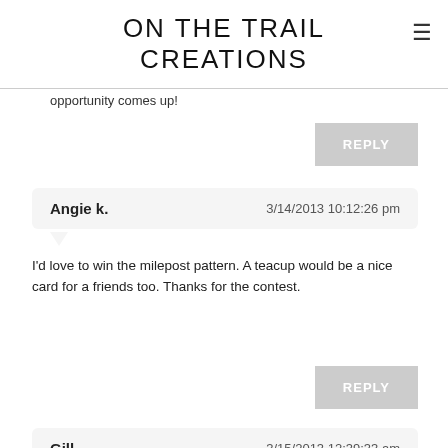ON THE TRAIL CREATIONS
opportunity comes up!
REPLY
Angie k.   3/14/2013 10:12:26 pm
I'd love to win the milepost pattern. A teacup would be a nice card for a friends too. Thanks for the contest.
REPLY
Gill   3/15/2013 12:39:33 am
Congratulations to Rita!